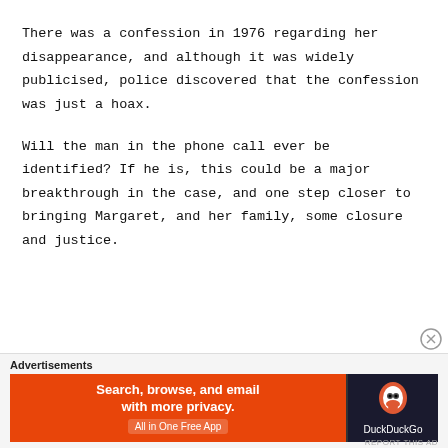There was a confession in 1976 regarding her disappearance, and although it was widely publicised, police discovered that the confession was just a hoax.
Will the man in the phone call ever be identified? If he is, this could be a major breakthrough in the case, and one step closer to bringing Margaret, and her family, some closure and justice.
[Figure (other): DuckDuckGo advertisement banner: orange background with text 'Search, browse, and email with more privacy. All in One Free App' and DuckDuckGo logo on dark background.]